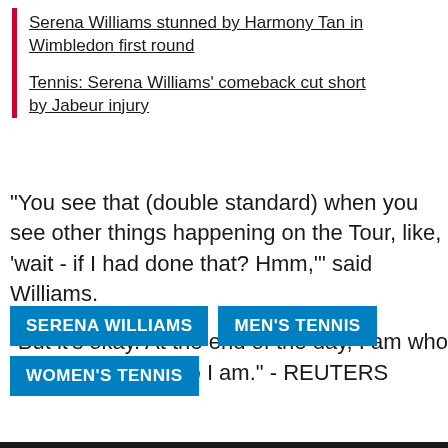Serena Williams stunned by Harmony Tan in Wimbledon first round
Tennis: Serena Williams' comeback cut short by Jabeur injury
"You see that (double standard) when you see other things happening on the Tour, like, 'wait - if I had done that? Hmm,'" said Williams.
"But it's okay. At the end of the day, I am who I am and I love who I am." - REUTERS
SERENA WILLIAMS
MEN'S TENNIS
WOMEN'S TENNIS